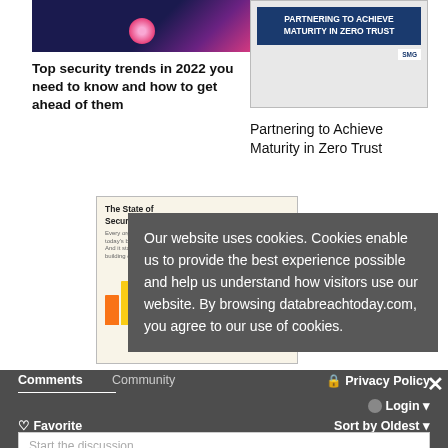[Figure (illustration): Dark blue and pink gradient background with pink circle element - security article thumbnail]
Top security trends in 2022 you need to know and how to get ahead of them
[Figure (illustration): White background with dark blue banner reading PARTNERING TO ACHIEVE MATURITY IN ZERO TRUST with SMG logo]
Partnering to Achieve Maturity in Zero Trust
[Figure (illustration): The State of Security 2021 report cover with colorful bar charts and dark building scene]
The State of Security 2021
Our website uses cookies. Cookies enable us to provide the best experience possible and help us understand how visitors use our website. By browsing databreachtoday.com, you agree to our use of cookies.
Comments
Community
🔒 Privacy Policy
✕
● Login ▾
♡ Favorite
Sort by Oldest ▾
Start the discussion...